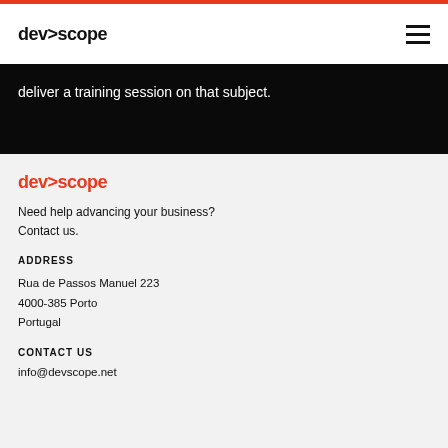dev>scope
deliver a training session on that subject.
[Figure (logo): dev>scope logo in red/orange color]
Need help advancing your business?
Contact us.
ADDRESS
Rua de Passos Manuel 223
4000-385 Porto
Portugal
CONTACT US
info@devscope.net